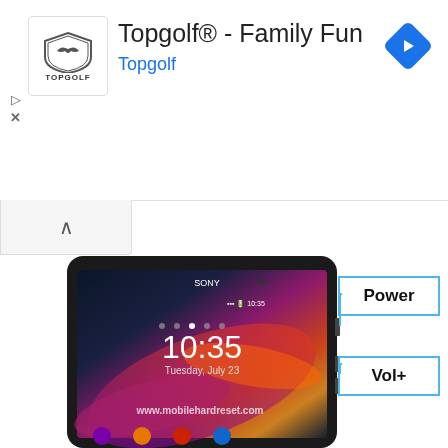[Figure (screenshot): Advertisement banner for Topgolf - Family Fun with Topgolf logo, navigation arrow button, and play/close controls]
[Figure (photo): Sony smartphone (Xperia Z1) showing lock screen with time 10:35, Tuesday July 23, with labeled callouts for Power button and Vol+ button on the right side. Watermark: www.mobilehardreset.com]